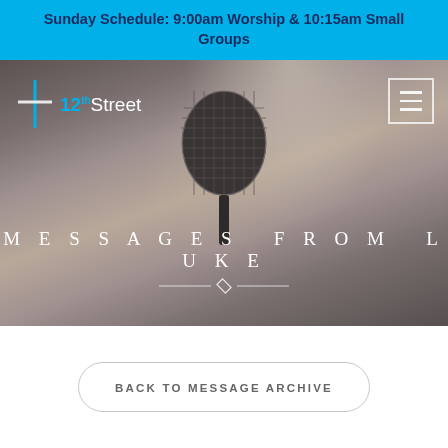Sunday Schedule: 9:00am Worship & 10:15am Small Groups
[Figure (screenshot): Church website hero section showing a close-up photograph of a microphone with blurred background. Overlay text reads MESSAGES FROM LUKE with a decorative diamond divider. Top-left shows the 12th Street church logo with a cross icon. Top-right shows a hamburger menu button.]
BACK TO MESSAGE ARCHIVE